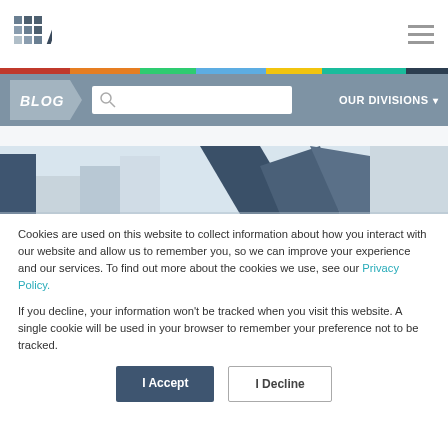[Figure (logo): ARA logo with grid icon and text]
[Figure (screenshot): ARA Blog navigation bar with search box and OUR DIVISIONS button]
[Figure (photo): Partial view of a modern building with dark blue and grey architectural elements]
Cookies are used on this website to collect information about how you interact with our website and allow us to remember you, so we can improve your experience and our services. To find out more about the cookies we use, see our Privacy Policy.
If you decline, your information won't be tracked when you visit this website. A single cookie will be used in your browser to remember your preference not to be tracked.
I Accept
I Decline